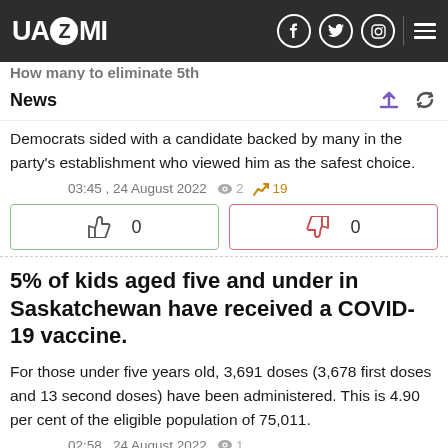UAZMI
News
Democrats sided with a candidate backed by many in the party's establishment who viewed him as the safest choice.
03:45 , 24 August 2022  👁 2  📈 19
👍 0  👎 0
5% of kids aged five and under in Saskatchewan have received a COVID-19 vaccine.
For those under five years old, 3,691 doses (3,678 first doses and 13 second doses) have been administered. This is 4.90 per cent of the eligible population of 75,011.
02:58 , 24 August 2022  👁 1